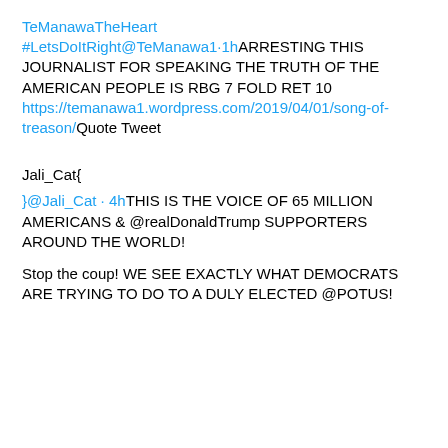TeManawaTheHeart
#LetsDoItRight@TeManawa1·1hARRESTING THIS JOURNALIST FOR SPEAKING THE TRUTH OF THE AMERICAN PEOPLE IS RBG 7 FOLD RET 10 https://temanawa1.wordpress.com/2019/04/01/song-of-treason/Quote Tweet
Jali_Cat{
}@Jali_Cat · 4hTHIS IS THE VOICE OF 65 MILLION AMERICANS & @realDonaldTrump SUPPORTERS AROUND THE WORLD!
Stop the coup! WE SEE EXACTLY WHAT DEMOCRATS ARE TRYING TO DO TO A DULY ELECTED @POTUS!